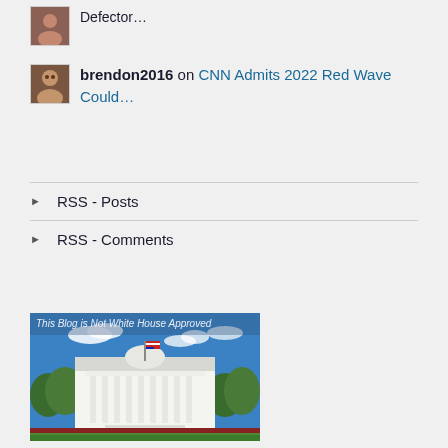Defector…
brendon2016 on CNN Admits 2022 Red Wave Could…
RSS - Posts
RSS - Comments
[Figure (photo): Photo of the White House with blue sky and trees, with text overlay: This Blog is Not White House Approved]